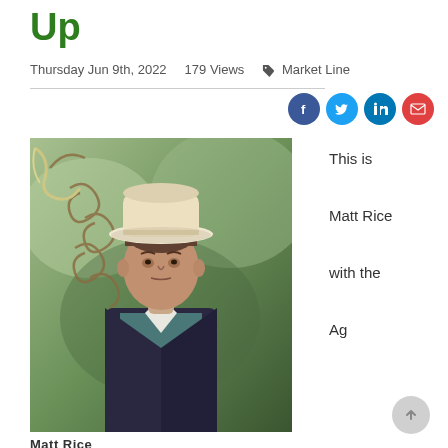Up
Thursday Jun 9th, 2022   179 Views   Market Line
[Figure (photo): Photo of Matt Rice, a man wearing a white cowboy hat and dark blazer over a teal striped shirt, standing in front of a rustic metal spiral fence decoration with a blurred green outdoor background.]
Matt Rice
This is Matt Rice with the Ag